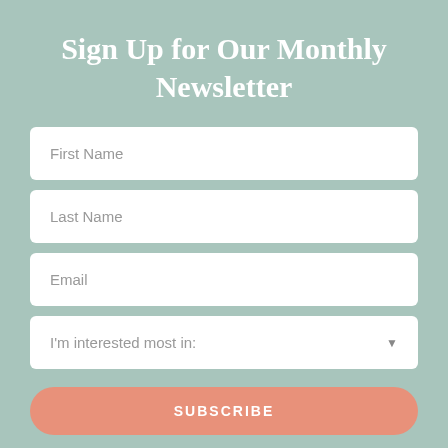Sign Up for Our Monthly Newsletter
First Name
Last Name
Email
I'm interested most in:
SUBSCRIBE